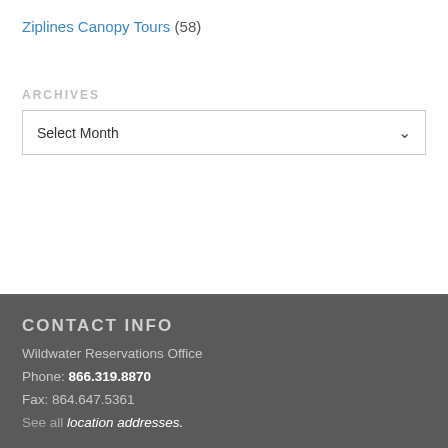Ziplines Canopy Tours (58)
ARCHIVES
Select Month
CONTACT INFO
Wildwater Reservations Office
Phone: 866.319.8870
Fax: 864.647.5361
See all location addresses.